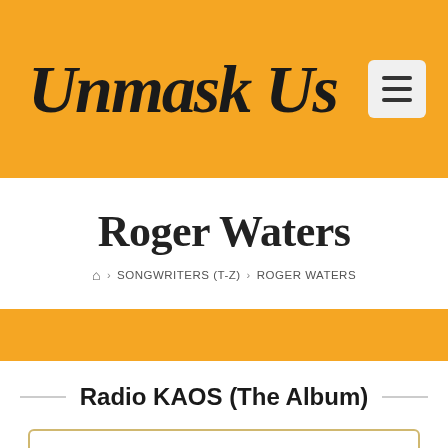Unmask Us
Roger Waters
Home > SONGWRITERS (T-Z) > ROGER WATERS
Radio KAOS (The Album)
“Included in this program is a map of the northern hemisphere, showing all the